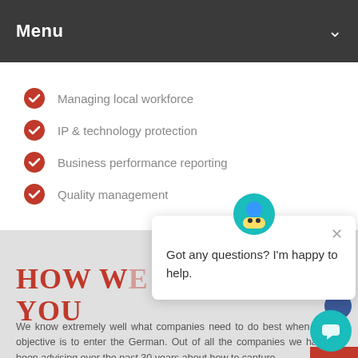Menu
Managing local workforce
IP & technology protection
Business performance reporting
Quality management
[Figure (screenshot): Chat popup with bot icon showing: Got any questions? I'm happy to help.]
HOW WE YOU
We know extremely well what companies need to do best when the objective is to enter the German. Out of all the companies we have been advising over the past 30 years about how to capture